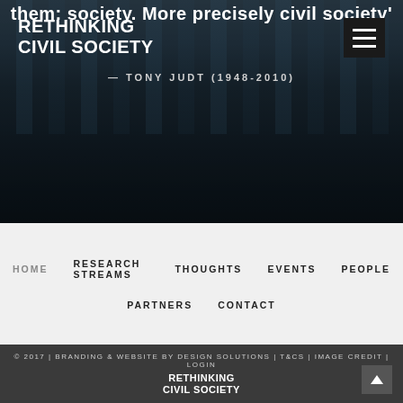[Figure (screenshot): Hero banner with dark overlay over water/harbor reflection background]
RETHINKING
CIVIL SOCIETY
them: society. More precisely civil society'
— TONY JUDT (1948-2010)
HOME  RESEARCH STREAMS  THOUGHTS  EVENTS  PEOPLE  PARTNERS  CONTACT
© 2017 | BRANDING & WEBSITE BY DESIGN SOLUTIONS | T&CS | IMAGE CREDIT | LOGIN
RETHINKING CIVIL SOCIETY